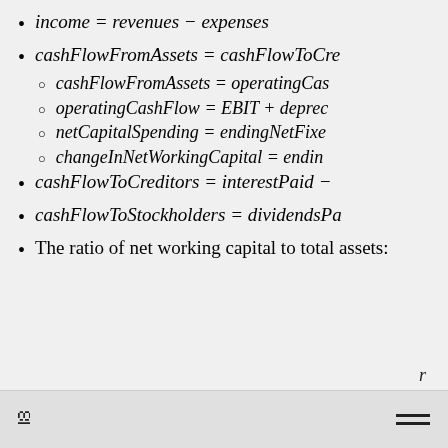income = revenues − expenses
cashFlowFromAssets = cashFlowToCre
cashFlowFromAssets = operatingCas
operatingCashFlow = EBIT + deprec
netCapitalSpending = endingNetFixe
changeInNetWorkingCapital = endin
cashFlowToCreditors = interestPaid −
cashFlowToStockholders = dividendsPa
The ratio of net working capital to total assets:
r